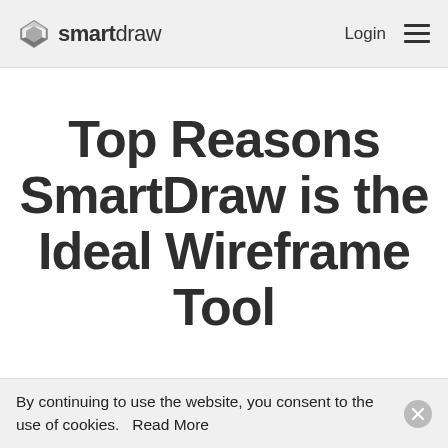smartdraw  Login ≡
Top Reasons SmartDraw is the Ideal Wireframe Tool
By continuing to use the website, you consent to the use of cookies.  Read More